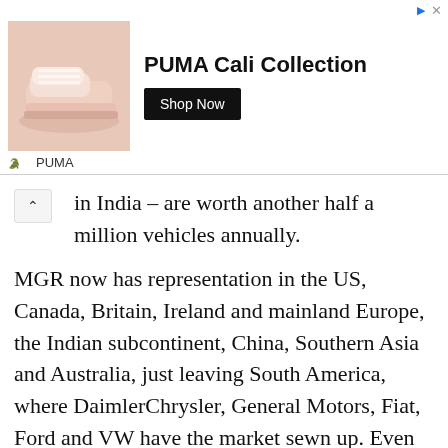[Figure (screenshot): Advertisement banner for PUMA Cali Collection featuring pink sneakers, a 'Shop Now' button, and PUMA logo/brand name at the bottom.]
in India – are worth another half a million vehicles annually.
MGR now has representation in the US, Canada, Britain, Ireland and mainland Europe, the Indian subcontinent, China, Southern Asia and Australia, just leaving South America, where DaimlerChrysler, General Motors, Fiat, Ford and VW have the market sewn up. Even so, MGR ha team of consultants in the region evaluating sales potential, and will begin